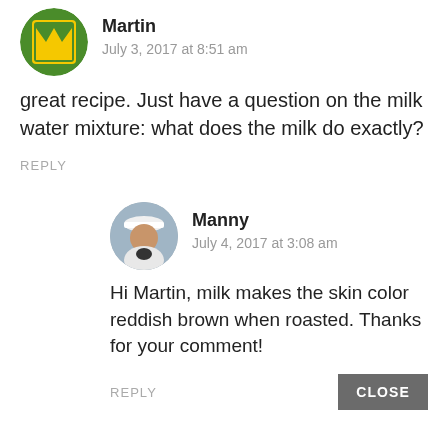[Figure (illustration): Martin user avatar - green and yellow circular icon with 'M' shape]
Martin
July 3, 2017 at 8:51 am
great recipe. Just have a question on the milk water mixture: what does the milk do exactly?
REPLY
[Figure (photo): Manny user avatar - circular photo of person wearing white cap]
Manny
July 4, 2017 at 3:08 am
Hi Martin, milk makes the skin color reddish brown when roasted. Thanks for your comment!
REPLY
CLOSE